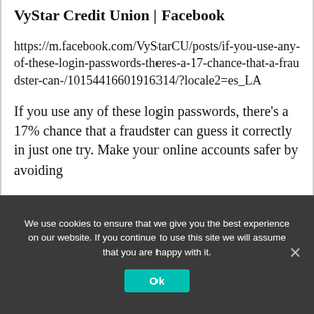VyStar Credit Union | Facebook
https://m.facebook.com/VyStarCU/posts/if-you-use-any-of-these-login-passwords-theres-a-17-chance-that-a-fraudster-can-/10154416601916314/?locale2=es_LA
If you use any of these login passwords, there’s a 17% chance that a fraudster can guess it correctly in just one try. Make your online accounts safer by avoiding
We use cookies to ensure that we give you the best experience on our website. If you continue to use this site we will assume that you are happy with it.